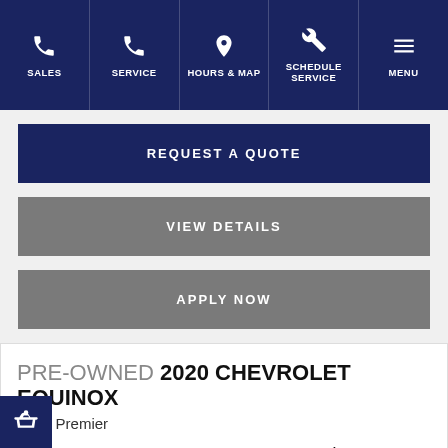SALES | SERVICE | HOURS & MAP | SCHEDULE SERVICE | MENU
REQUEST A QUOTE
VIEW DETAILS
APPLY NOW
PRE-OWNED 2020 CHEVROLET EQUINOX
AWD Premier
FINAL PRICE $36,499
See Important Disclosures Here